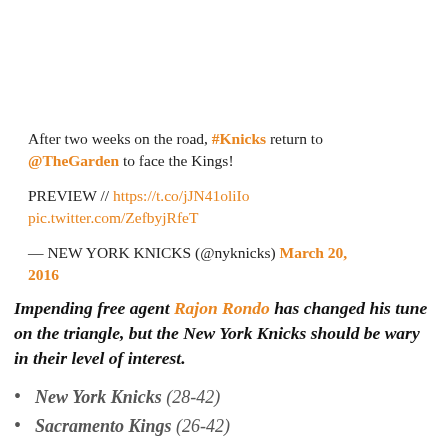After two weeks on the road, #Knicks return to @TheGarden to face the Kings!

PREVIEW // https://t.co/jJN41oliIo pic.twitter.com/ZefbyjRfeT

— NEW YORK KNICKS (@nyknicks) March 20, 2016
Impending free agent Rajon Rondo has changed his tune on the triangle, but the New York Knicks should be wary in their level of interest.
New York Knicks (28-42)
Sacramento Kings (26-42)
NBA, Today, 7:30 PM on MSG